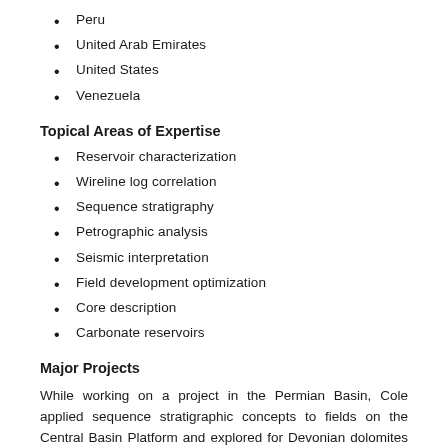Peru
United Arab Emirates
United States
Venezuela
Topical Areas of Expertise
Reservoir characterization
Wireline log correlation
Sequence stratigraphy
Petrographic analysis
Seismic interpretation
Field development optimization
Core description
Carbonate reservoirs
Major Projects
While working on a project in the Permian Basin, Cole applied sequence stratigraphic concepts to fields on the Central Basin Platform and explored for Devonian dolomites on structural horst blocks. His work included upgrading probable and